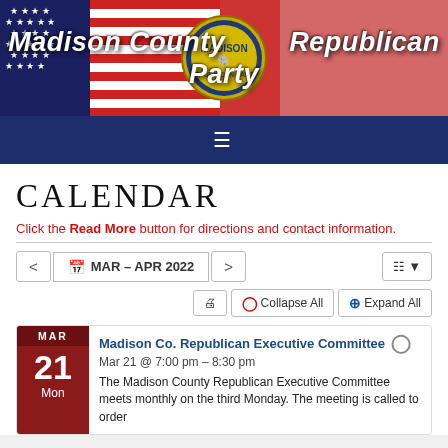[Figure (illustration): Madison County Republican Party banner with American flag background, party seal, and bold italic white text]
CALENDAR
Click the Read More button for directions and contact information.
MAR – APR 2022 navigation bar with Collapse All and Expand All controls
Madison Co. Republican Executive Committee
Mar 21 @ 7:00 pm – 8:30 pm
The Madison County Republican Executive Committee meets monthly on the third Monday. The meeting is called to order